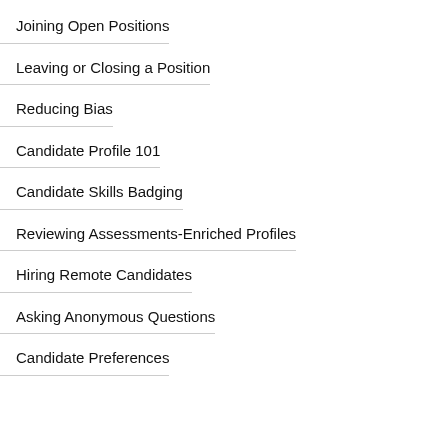Joining Open Positions
Leaving or Closing a Position
Reducing Bias
Candidate Profile 101
Candidate Skills Badging
Reviewing Assessments-Enriched Profiles
Hiring Remote Candidates
Asking Anonymous Questions
Candidate Preferences